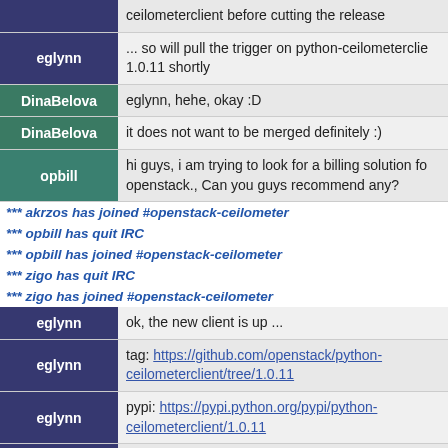| Nick | Message |
| --- | --- |
|  | ceilometerclient before cutting the release |
| eglynn | ... so will pull the trigger on python-ceilometerclie 1.0.11 shortly |
| DinaBelova | eglynn, hehe, okay :D |
| DinaBelova | it does not want to be merged definitely :) |
| opbill | hi guys, i am trying to look for a billing solution fo openstack., Can you guys recommend any? |
*** akrzos has joined #openstack-ceilometer
*** opbill has quit IRC
*** opbill has joined #openstack-ceilometer
*** zigo has quit IRC
*** zigo has joined #openstack-ceilometer
| Nick | Message |
| --- | --- |
| eglynn | ok, the new client is up ... |
| eglynn | tag: https://github.com/openstack/python-ceilometerclient/tree/1.0.11 |
| eglynn | pypi: https://pypi.python.org/pypi/python-ceilometerclient/1.0.11 |
| eglynn | tarball: http://tarballs.openstack.org/python-ceilometerclient/python-ceilometerclient-1.0.11.tar |
*** yasu_ has quit IRC
*** opbill has quit IRC
*** akrzos has quit IRC